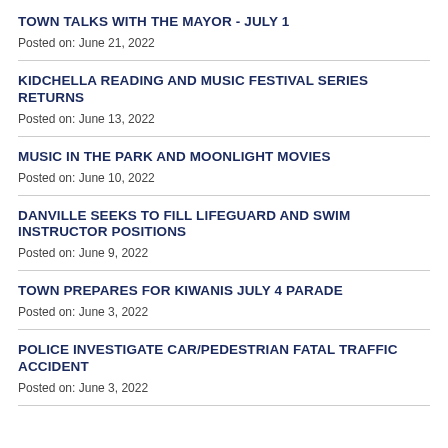TOWN TALKS WITH THE MAYOR - JULY 1
Posted on: June 21, 2022
KIDCHELLA READING AND MUSIC FESTIVAL SERIES RETURNS
Posted on: June 13, 2022
MUSIC IN THE PARK AND MOONLIGHT MOVIES
Posted on: June 10, 2022
DANVILLE SEEKS TO FILL LIFEGUARD AND SWIM INSTRUCTOR POSITIONS
Posted on: June 9, 2022
TOWN PREPARES FOR KIWANIS JULY 4 PARADE
Posted on: June 3, 2022
POLICE INVESTIGATE CAR/PEDESTRIAN FATAL TRAFFIC ACCIDENT
Posted on: June 3, 2022